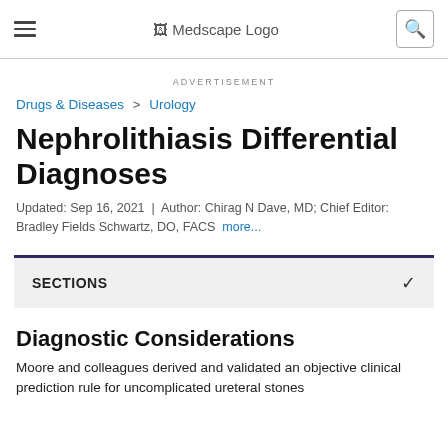Medscape Logo
ADVERTISEMENT
Drugs & Diseases > Urology
Nephrolithiasis Differential Diagnoses
Updated: Sep 16, 2021 | Author: Chirag N Dave, MD; Chief Editor: Bradley Fields Schwartz, DO, FACS more...
SECTIONS
Diagnostic Considerations
Moore and colleagues derived and validated an objective clinical prediction rule for uncomplicated ureteral stones